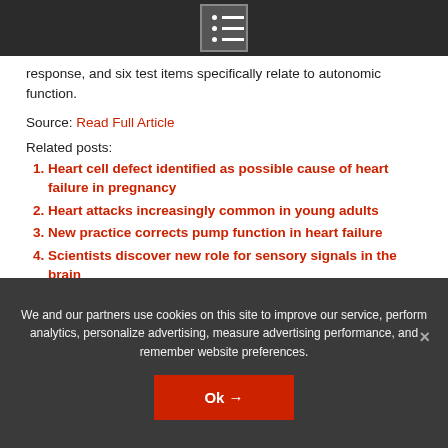response, and six test items specifically relate to autonomic function.
Source: Read Full Article
Related posts:
Heart cell defect identified as possible cause of heart failure in pregnancy
Heart attacks increasingly common in young adults
New practice corrects pump function in heart failure
Scientists discover new role for sensory signals in the brain
We and our partners use cookies on this site to improve our service, perform analytics, personalize advertising, measure advertising performance, and remember website preferences.